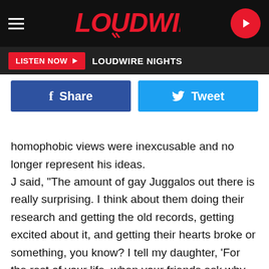LOUDWIRE
LISTEN NOW ▶ LOUDWIRE NIGHTS
[Figure (screenshot): Facebook Share button (blue) and Twitter Tweet button (light blue) side by side]
homophobic views were inexcusable and no longer represent his ideas.
J said, "The amount of gay Juggalos out there is really surprising. I think about them doing their research and getting the old records, getting excited about it, and getting their hearts broke or something, you know? I tell my daughter, 'For the rest of your life, when your friends ask why your dad said that, say it's because your dad was a fool. Don't defend me. Say I was a fool then, but I'm not now.'"